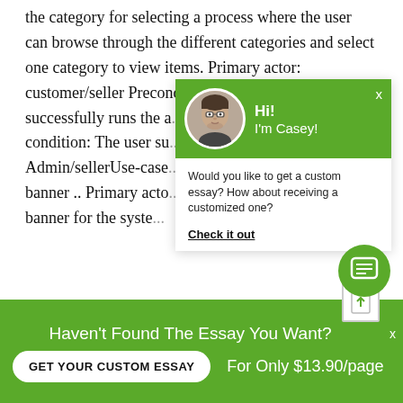the category for selecting a process where the user can browse through the different categories and select one category to view items. Primary actor: customer/seller Precondition: The customer/seller successfully runs the a... page and browse diffe... condition: The user su... to view items in a part... Admin/sellerUse-case... description: This use c... banner .. Primary acto... admin can add or delete banner for the syste...
[Figure (screenshot): Chat popup overlay with green header showing avatar of Casey (man with glasses), greeting 'Hi! I'm Casey!', close button X, and body text: 'Would you like to get a custom essay? How about receiving a customized one?' with 'Check it out' link.]
[Figure (infographic): Green bottom bar with text 'Haven't Found The Essay You Want?' and button 'GET YOUR CUSTOM ESSAY' and price 'For Only $13.90/page', plus chat icon button and upload icon.]